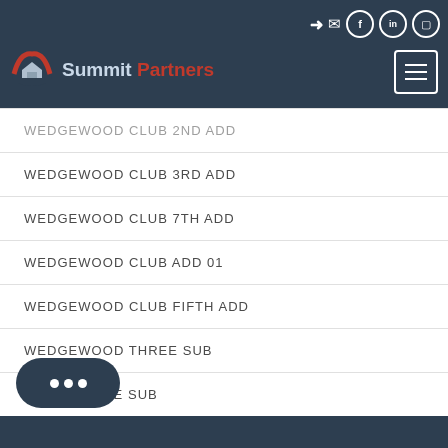Summit Partners – Navigation header with logo and icons
WEDGEWOOD CLUB 2ND ADD
WEDGEWOOD CLUB 3RD ADD
WEDGEWOOD CLUB 7TH ADD
WEDGEWOOD CLUB ADD 01
WEDGEWOOD CLUB FIFTH ADD
WEDGEWOOD THREE SUB
WINDY RIDGE SUB